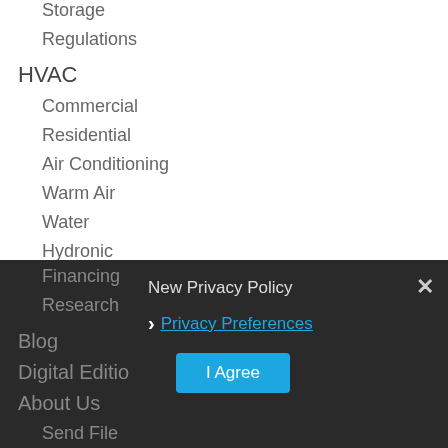Storage
Regulations
HVAC
Commercial
Residential
Air Conditioning
Warm Air
Water
Hydronic
Tools
Energy Industry Events
Operations
Management
Marketing
Financing
Research
Blog
Digital Editions
About Us
Send File
New Privacy Policy
Privacy Preferences
I Agree